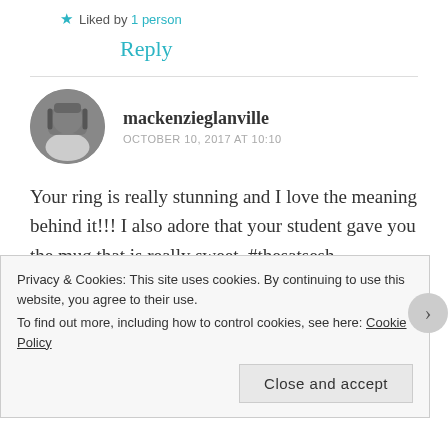★ Liked by 1 person
Reply
mackenzieglanville
OCTOBER 10, 2017 AT 10:10
Your ring is really stunning and I love the meaning behind it!!! I also adore that your student gave you the mug that is really sweet. #thesatsesh
Privacy & Cookies: This site uses cookies. By continuing to use this website, you agree to their use.
To find out more, including how to control cookies, see here: Cookie Policy
Close and accept